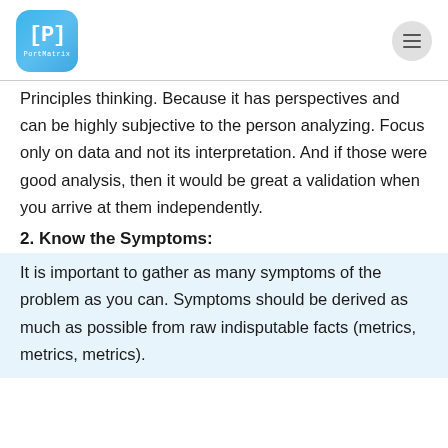PortMatrix logo and menu button
Principles thinking. Because it has perspectives and can be highly subjective to the person analyzing. Focus only on data and not its interpretation. And if those were good analysis, then it would be great a validation when you arrive at them independently.
2. Know the Symptoms:
It is important to gather as many symptoms of the problem as you can. Symptoms should be derived as much as possible from raw indisputable facts (metrics, metrics, metrics).